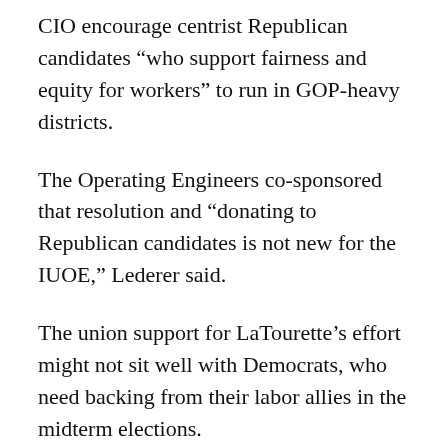CIO encourage centrist Republican candidates “who support fairness and equity for workers” to run in GOP-heavy districts.
The Operating Engineers co-sponsored that resolution and “donating to Republican candidates is not new for the IUOE,” Lederer said.
The union support for LaTourette’s effort might not sit well with Democrats, who need backing from their labor allies in the midterm elections.
Stem with the SMART Transportation Division said Democrats haven’t told him to avoid